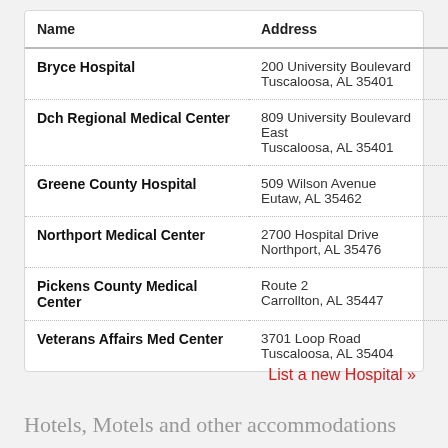| Name | Address | Ph |
| --- | --- | --- |
| Bryce Hospital | 200 University Boulevard
Tuscaloosa, AL 35401 | (2… |
| Dch Regional Medical Center | 809 University Boulevard East
Tuscaloosa, AL 35401 | (2… |
| Greene County Hospital | 509 Wilson Avenue
Eutaw, AL 35462 | (2… |
| Northport Medical Center | 2700 Hospital Drive
Northport, AL 35476 | (2… |
| Pickens County Medical Center | Route 2
Carrollton, AL 35447 | (2… |
| Veterans Affairs Med Center | 3701 Loop Road
Tuscaloosa, AL 35404 | (2… |
List a new Hospital »
Hotels, Motels and other accommodations